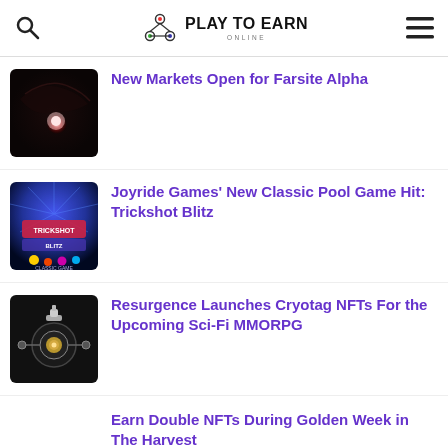Play to Earn Online
New Markets Open for Farsite Alpha
Joyride Games' New Classic Pool Game Hit: Trickshot Blitz
Resurgence Launches Cryotag NFTs For the Upcoming Sci-Fi MMORPG
Earn Double NFTs During Golden Week in The Harvest